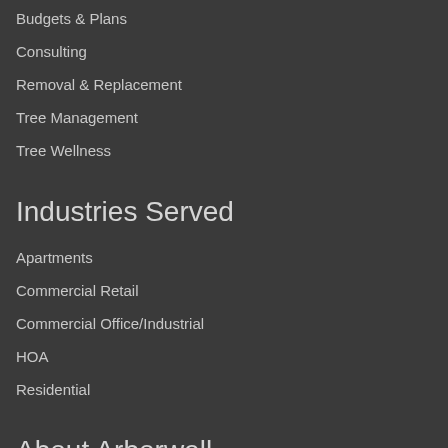Budgets & Plans
Consulting
Removal & Replacement
Tree Management
Tree Wellness
Industries Served
Apartments
Commercial Retail
Commercial Office/Industrial
HOA
Residential
About Arborwell
Community Involvement